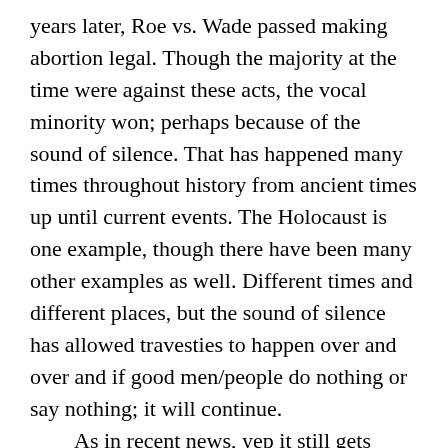years later, Roe vs. Wade passed making abortion legal. Though the majority at the time were against these acts, the vocal minority won; perhaps because of the sound of silence. That has happened many times throughout history from ancient times up until current events. The Holocaust is one example, though there have been many other examples as well. Different times and different places, but the sound of silence has allowed travesties to happen over and over and if good men/people do nothing or say nothing; it will continue.
As in recent news, yep it still gets through, even without watching, it may be particularly prophetic. Controversial bills are passing to allow abortion up until the babies due date; the law to protect babies born alive in late-term failed abortions failed to pass...